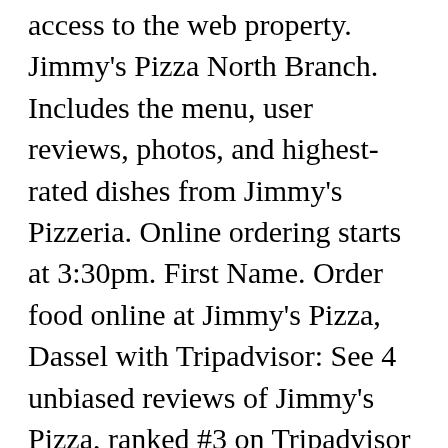access to the web property. Jimmy's Pizza North Branch. Includes the menu, user reviews, photos, and highest-rated dishes from Jimmy's Pizzeria. Online ordering starts at 3:30pm. First Name. Order food online at Jimmy's Pizza, Dassel with Tripadvisor: See 4 unbiased reviews of Jimmy's Pizza, ranked #3 on Tripadvisor among 6 restaurants in Dassel. Browse the menu, view popular items, and track your order. 40243 Restaurant Carry Out Order Online. About Restaurant Owners Text me the App. Order online and read reviews from Jimmy's Pizzeria at 475 5th Ave in Troy 12182 from trusted Troy restaurant reviewers. About Restaurant Owners Text me the App. Sale! Thank you for your continued support.